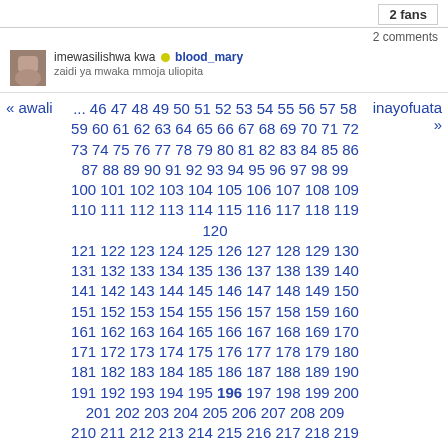2 fans
2 comments
imewasilishwa kwa blood_mary
zaidi ya mwaka mmoja uliopita
« awali ... 46 47 48 49 50 51 52 53 54 55 56 57 58 59 60 61 62 63 64 65 66 67 68 69 70 71 72 73 74 75 76 77 78 79 80 81 82 83 84 85 86 87 88 89 90 91 92 93 94 95 96 97 98 99 100 101 102 103 104 105 106 107 108 109 110 111 112 113 114 115 116 117 118 119 120 121 122 123 124 125 126 127 128 129 130 131 132 133 134 135 136 137 138 139 140 141 142 143 144 145 146 147 148 149 150 151 152 153 154 155 156 157 158 159 160 161 162 163 164 165 166 167 168 169 170 171 172 173 174 175 176 177 178 179 180 181 182 183 184 185 186 187 188 189 190 191 192 193 194 195 196 197 198 199 200 201 202 203 204 205 206 207 208 209 210 211 212 213 214 215 216 217 218 219 220 221 222 223 224 225 226 227 228 229 230 231 232 233 234 235 236 237 inayofuata »